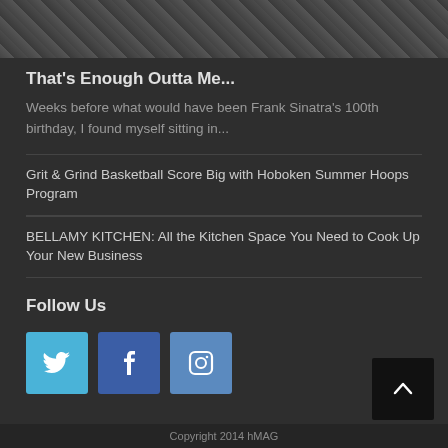[Figure (photo): Cropped black and white photo at top of page showing partial figure]
That’s Enough Outta Me...
Weeks before what would have been Frank Sinatra’s 100th birthday, I found myself sitting in...
Grit & Grind Basketball Score Big with Hoboken Summer Hoops Program
BELLAMY KITCHEN: All the Kitchen Space You Need to Cook Up Your New Business
Follow Us
[Figure (illustration): Three social media icons: Twitter (blue bird), Facebook (blue f), Instagram (blue camera)]
Copyright 2014 hMAG